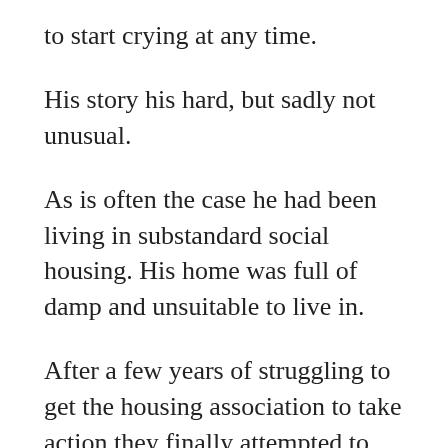to start crying at any time.
His story his hard, but sadly not unusual.
As is often the case he had been living in substandard social housing. His home was full of damp and unsuitable to live in.
After a few years of struggling to get the housing association to take action they finally attempted to fix it. This left him without electricity and sleeping at his son's place on the floor.
He explained the situation to the DWP who were totally unsympathetic telling him that he still had to look for work online for 35 hours a